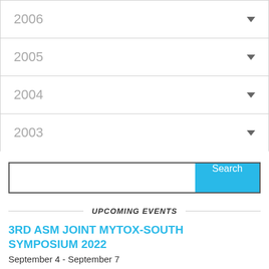2006
2005
2004
2003
Search
UPCOMING EVENTS
3RD ASM JOINT MYTOX-SOUTH SYMPOSIUM 2022
September 4 - September 7
The 2nd Nordic Metabolomics Conference 2022